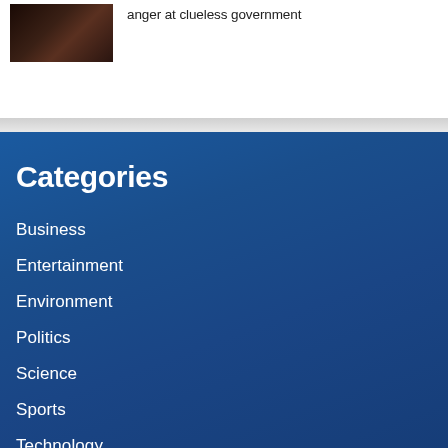[Figure (photo): Small dark thumbnail image, appears to show a nighttime street scene]
anger at clueless government
Categories
Business
Entertainment
Environment
Politics
Science
Sports
Technology
UK